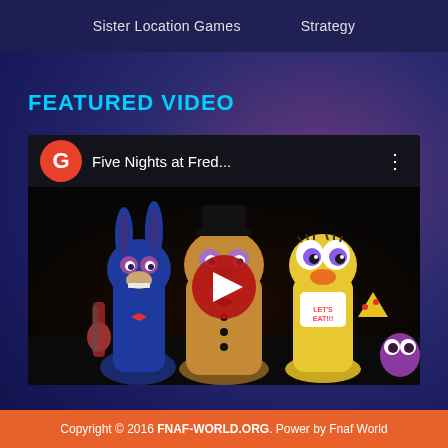Sister Location Games   Strategy
FEATURED VIDEO
[Figure (screenshot): YouTube video embed showing Five Nights at Freddy's animated characters (Bonnie, Freddy, Chica) with a red play button, channel icon G in red circle, and title 'Five Nights at Fred...']
Copyright © 2016 FNAF-WORLD.ORG. Power by Fnaf World